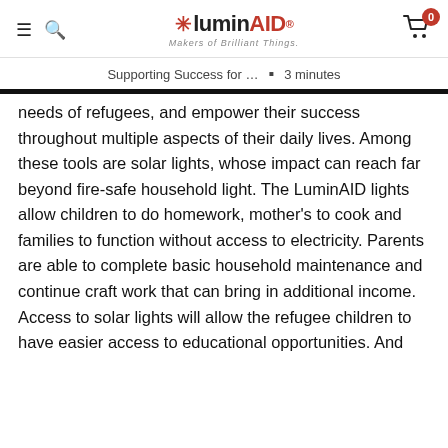LuminAID — Makers of Brilliant Things.
Supporting Success for ... ▪ 3 minutes
needs of refugees, and empower their success throughout multiple aspects of their daily lives. Among these tools are solar lights, whose impact can reach far beyond fire-safe household light. The LuminAID lights allow children to do homework, mother's to cook and families to function without access to electricity. Parents are able to complete basic household maintenance and continue craft work that can bring in additional income. Access to solar lights will allow the refugee children to have easier access to educational opportunities. And